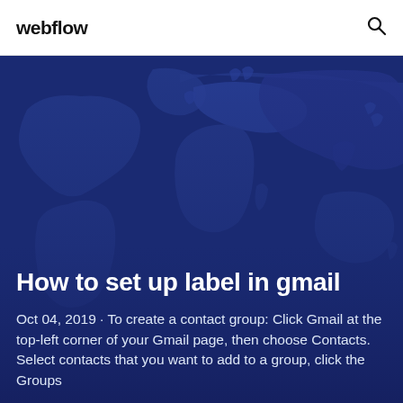webflow
[Figure (illustration): Dark blue world map background illustration showing continents]
How to set up label in gmail
Oct 04, 2019 · To create a contact group: Click Gmail at the top-left corner of your Gmail page, then choose Contacts. Select contacts that you want to add to a group, click the Groups